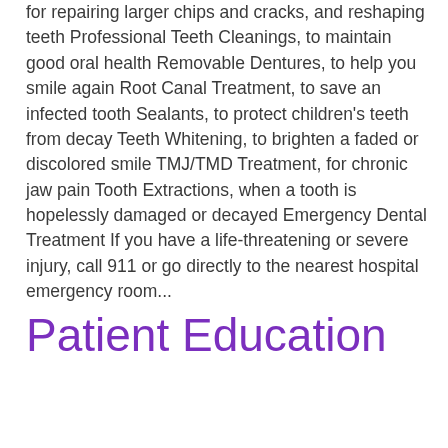for repairing larger chips and cracks, and reshaping teeth Professional Teeth Cleanings, to maintain good oral health Removable Dentures, to help you smile again Root Canal Treatment, to save an infected tooth Sealants, to protect children's teeth from decay Teeth Whitening, to brighten a faded or discolored smile TMJ/TMD Treatment, for chronic jaw pain Tooth Extractions, when a tooth is hopelessly damaged or decayed Emergency Dental Treatment If you have a life-threatening or severe injury, call 911 or go directly to the nearest hospital emergency room...
Patient Education